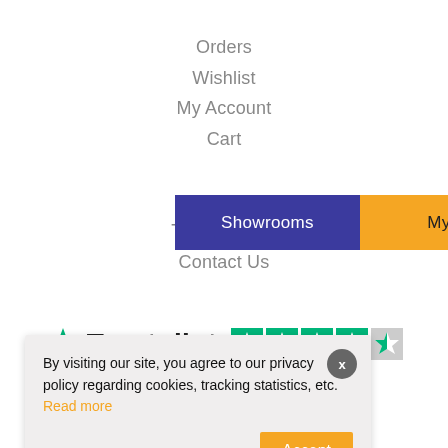Orders
Wishlist
My Account
Cart
[Figure (screenshot): Navigation bar with two buttons: 'Showrooms' (dark blue/indigo background, white text) and 'My Account ▾' (orange background, dark text)]
Tile Samples
Contact Us
[Figure (logo): Trustpilot logo with green star and 'Trustpilot' text, and green/grey star rating badges]
By visiting our site, you agree to our privacy policy regarding cookies, tracking statistics, etc. Read more
[Figure (infographic): Social media icons row: Facebook, Twitter, Instagram, YouTube, Pinterest]